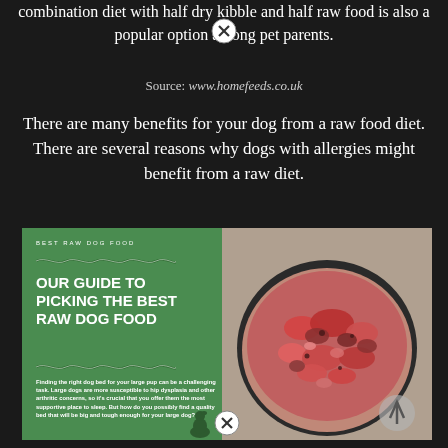combination diet with half dry kibble and half raw food is also a popular option among pet parents.
Source: www.homefeeds.co.uk
There are many benefits for your dog from a raw food diet. There are several reasons why dogs with allergies might benefit from a raw diet.
[Figure (photo): Promotional banner image for 'Best Raw Dog Food' guide from homefeeds.co.uk. Left green panel shows text 'BEST RAW DOG FOOD' and heading 'OUR GUIDE TO PICKING THE BEST RAW DOG FOOD' with body text about finding the right dog bed. Right side shows a photo of raw minced meat in a bowl.]